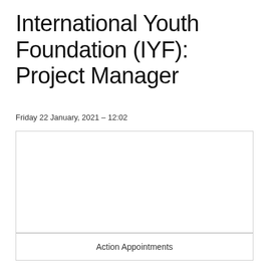International Youth Foundation (IYF): Project Manager
Friday 22 January, 2021 – 12:02
[Figure (other): Empty image/photo placeholder box]
Action Appointments